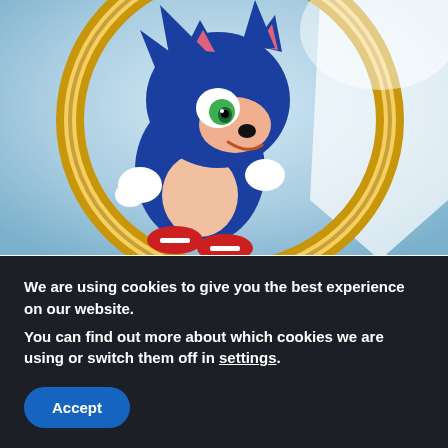[Figure (illustration): Anime-style illustration of Sonic the Hedgehog — a blue anthropomorphic hedgehog with green eyes and salmon-colored face, running forward in a dynamic pose. Background features a large gold ring and a white cape or fabric. The art style blends the movie-realistic design with manga/anime aesthetics.]
#COMICS, #TV/FILM, NEWS
SONIC 2 MOVIE TIE-IN COMIC HAS A
We are using cookies to give you the best experience on our website.
You can find out more about which cookies we are using or switch them off in settings.
Accept